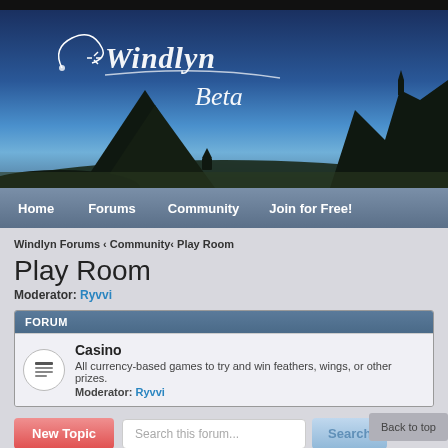[Figure (screenshot): Windlyn Beta forum website banner with blue sky, mountain silhouettes, and fantasy castle]
Home  Forums  Community  Join for Free!
Windlyn Forums ‹ Community‹ Play Room
Play Room
Moderator: Ryvvi
FORUM
| Forum |
| --- |
| Casino | All currency-based games to try and win feathers, wings, or other prizes. | Moderator: Ryvvi |